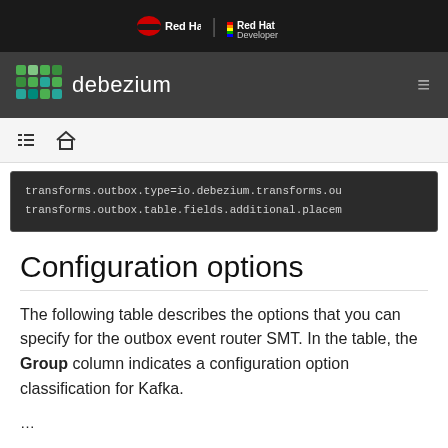Red Hat | Red Hat Developer
debezium
[Figure (screenshot): Navigation icon bar with list and home icons]
transforms.outbox.type=io.debezium.transforms.ou
transforms.outbox.table.fields.additional.placem
Configuration options
The following table describes the options that you can specify for the outbox event router SMT. In the table, the Group column indicates a configuration option classification for Kafka.
…